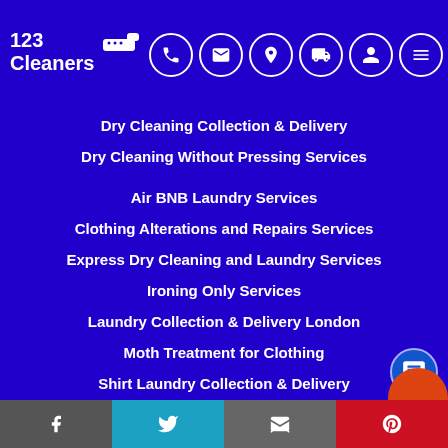[Figure (logo): 123 Cleaners logo with iron icon and navigation icons (phone, email, location, delivery, account, menu)]
Dry Cleaning Collection & Delivery
Dry Cleaning Without Pressing Services
Air BNB Laundry Services
Clothing Alterations and Repairs Services
Express Dry Cleaning and Laundry Services
Ironing Only Services
Laundry Collection & Delivery London
Moth Treatment for Clothing
Shirt Laundry Collection & Delivery
Facebook | Twitter | Email | Pinterest